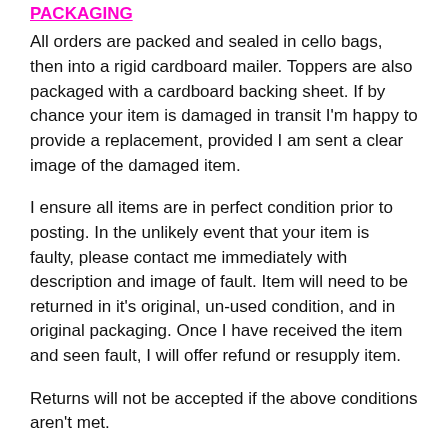PACKAGING
All orders are packed and sealed in cello bags, then into a rigid cardboard mailer. Toppers are also packaged with a cardboard backing sheet. If by chance your item is damaged in transit I'm happy to provide a replacement, provided I am sent a clear image of the damaged item.
I ensure all items are in perfect condition prior to posting. In the unlikely event that your item is faulty, please contact me immediately with description and image of fault. Item will need to be returned in it's original, un-used condition, and in original packaging. Once I have received the item and seen fault, I will offer refund or resupply item.
Returns will not be accepted if the above conditions aren't met.
REFUNDS/EXCHANGES
Unfortunately I do not offer refunds/exchanges for change of